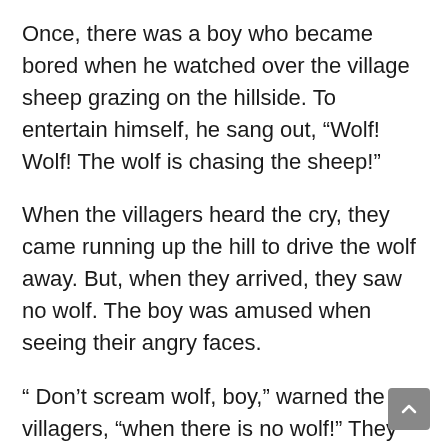Once, there was a boy who became bored when he watched over the village sheep grazing on the hillside. To entertain himself, he sang out, “Wolf! Wolf! The wolf is chasing the sheep!”
When the villagers heard the cry, they came running up the hill to drive the wolf away. But, when they arrived, they saw no wolf. The boy was amused when seeing their angry faces.
“ Don’t scream wolf, boy,” warned the villagers, “when there is no wolf!” They angrily went back down the hill.